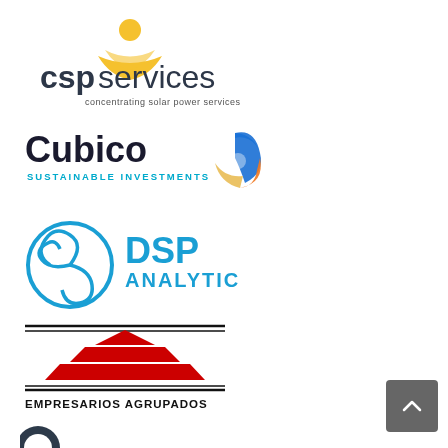[Figure (logo): CSP Services logo — gold/yellow sun icon above bold dark text 'cspservices' with tagline 'concentrating solar power services']
[Figure (logo): Cubico Sustainable Investments logo — bold black 'Cubico' text with teal 'SUSTAINABLE INVESTMENTS' subtitle and a blue/orange swirl emblem]
[Figure (logo): DSP Analytic logo — blue triple-spiral circular icon beside bold blue 'DSP' and 'ANALYTIC' text]
[Figure (logo): Empresarios Agrupados logo — red geometric pyramid/triangle stacked shapes with horizontal black lines above and below the text 'EMPRESARIOS AGRUPADOS']
[Figure (logo): Partial logo at bottom — dark circular icon partially visible, suggesting another company logo cut off]